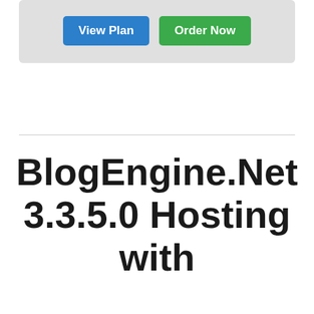[Figure (other): Gray card panel with two buttons: 'View Plan' (blue) and 'Order Now' (green)]
BlogEngine.Net 3.3.5.0 Hosting with